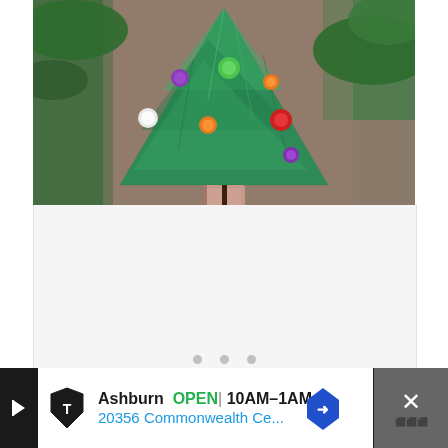[Figure (photo): A handmade Christmas tree craft ornament made from green-painted crinkled paper with colorful candy-like decorations (purple, green, orange, white, orange, red, purple buttons/candies), a pink/tan cardboard trunk, mounted on a stick, photographed against a blurred background of real pine tree branches.]
[Figure (screenshot): White empty area with three small gray navigation dots at the bottom center, indicating a slideshow or carousel with 3 slides.]
Ashburn  OPEN | 10AM–1AM
20356 Commonwealth Ce...